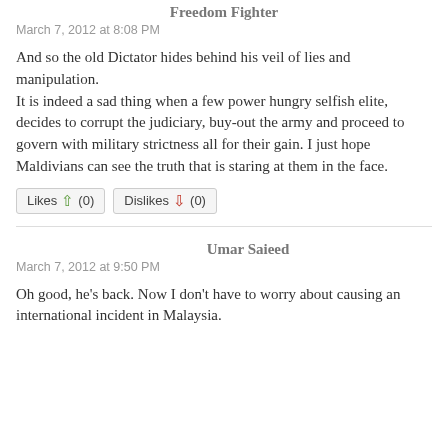Freedom Fighter
March 7, 2012 at 8:08 PM
And so the old Dictator hides behind his veil of lies and manipulation.
It is indeed a sad thing when a few power hungry selfish elite, decides to corrupt the judiciary, buy-out the army and proceed to govern with military strictness all for their gain. I just hope Maldivians can see the truth that is staring at them in the face.
Likes (0)   Dislikes (0)
Umar Saieed
March 7, 2012 at 9:50 PM
Oh good, he's back. Now I don't have to worry about causing an international incident in Malaysia.